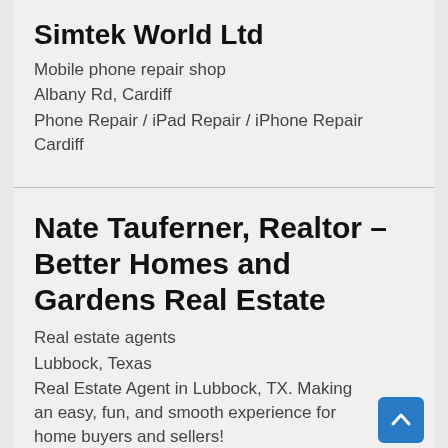Simtek World Ltd
Mobile phone repair shop
Albany Rd, Cardiff
Phone Repair / iPad Repair / iPhone Repair Cardiff
Nate Tauferner, Realtor – Better Homes and Gardens Real Estate
Real estate agents
Lubbock, Texas
Real Estate Agent in Lubbock, TX. Making an easy, fun, and smooth experience for home buyers and sellers!